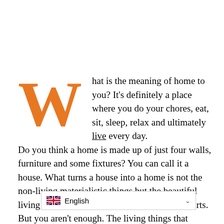What is the meaning of home to you? It's definitely a place where you do your chores, eat, sit, sleep, relax and ultimately live every day. Do you think a home is made up of just four walls, furniture and some fixtures? You can call it a house. What turns a house into a home is not the non-living materialistic things but the beautiful living things including you and your counterparts. But you aren't enough. The living things that actually help our home breathe are the 'plants'. Indoor plants have swept over the interior design industry like nothing else. Th[...] el of dimension to your space and
[Figure (screenshot): Language selector bar showing UK flag and 'English' label with dropdown chevron]